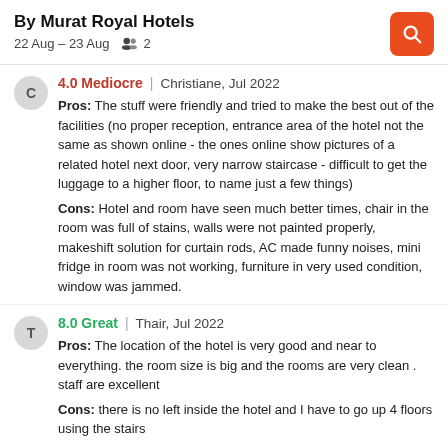By Murat Royal Hotels
22 Aug – 23 Aug   👥 2
4.0 Mediocre | Christiane, Jul 2022
Pros: The stuff were friendly and tried to make the best out of the facilities (no proper reception, entrance area of the hotel not the same as shown online - the ones online show pictures of a related hotel next door, very narrow staircase - difficult to get the luggage to a higher floor, to name just a few things)
Cons: Hotel and room have seen much better times, chair in the room was full of stains, walls were not painted properly, makeshift solution for curtain rods, AC made funny noises, mini fridge in room was not working, furniture in very used condition, window was jammed.
8.0 Great | Thair, Jul 2022
Pros: The location of the hotel is very good and near to everything. the room size is big and the rooms are very clean . staff are excellent
Cons: there is no left inside the hotel and I have to go up 4 floors using the stairs